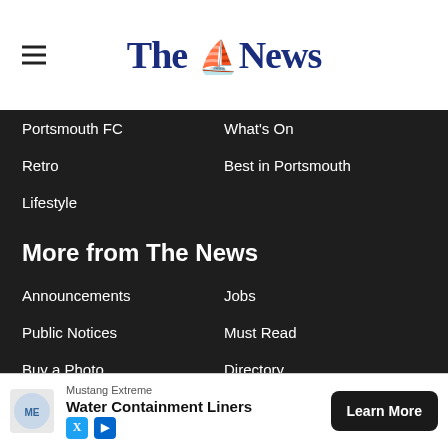The News
Portsmouth FC
What's On
Retro
Best in Portsmouth
Lifestyle
More from The News
Announcements
Jobs
Public Notices
Must Read
Buy a Photo
Directory
Newspaper Archive
Useful Links
Contact Us
Advertise My Business
Advertise a Job
Place your Ad
Subscribe
Newsletter
[Figure (infographic): Advertisement banner: Mustang Extreme Water Containment Liners with Learn More button]